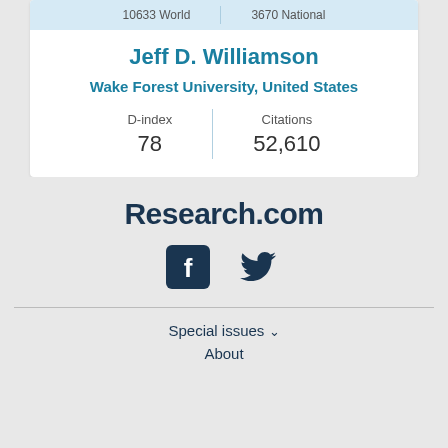10633 World | 3670 National
Jeff D. Williamson
Wake Forest University, United States
| D-index | Citations |
| --- | --- |
| 78 | 52,610 |
[Figure (logo): Research.com logo with Facebook and Twitter social icons]
Special issues ∨
About